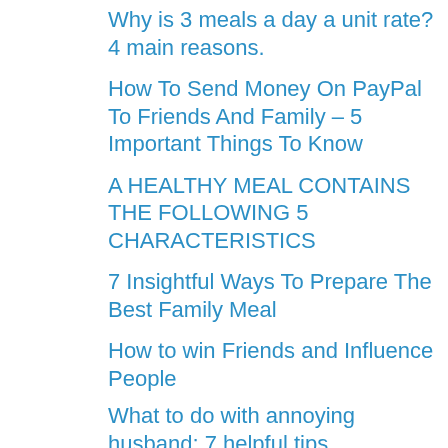Why is 3 meals a day a unit rate? 4 main reasons.
How To Send Money On PayPal To Friends And Family – 5 Important Things To Know
A HEALTHY MEAL CONTAINS THE FOLLOWING 5 CHARACTERISTICS
7 Insightful Ways To Prepare The Best Family Meal
How to win Friends and Influence People
What to do with annoying husband; 7 helpful tips.
What to wear when you get married